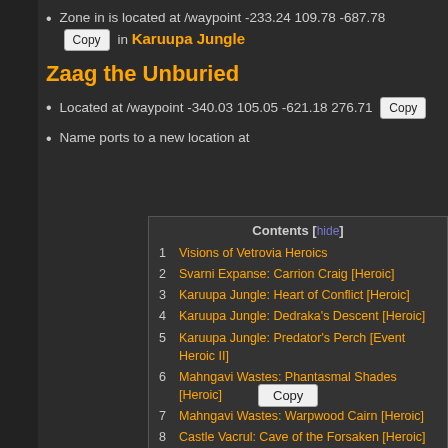Zone in is located at /waypoint -233.24 109.78 -687.78 [Copy] in Karuupa Jungle
Zaag the Unburied
Located at /waypoint -340.03 105.05 -621.18 276.71 [Copy]
Name ports to a new location at
| # | Entry |
| --- | --- |
| 1 | Visions of Vetrovia Heroics |
| 2 | Svarni Expanse: Carrion Craig [Heroic] |
| 3 | Karuupa Jungle: Heart of Conflict [Heroic] |
| 4 | Karuupa Jungle: Dedraka's Descent [Heroic] |
| 5 | Karuupa Jungle: Predator's Perch [Event Heroic II] |
| 6 | Mahngavi Wastes: Phantasmal Shades [Heroic] |
| 7 | Mahngavi Wastes: Warpwood Cairn [Heroic] |
| 8 | Castle Vacrul: Cave of the Forsaken [Heroic] |
| 9 | Castle Vacrul: Rosy Reverie [Heroic] |
| 10 | Castle Vacrul: Suite of Screams [Event Heroic II] |
| 11 | Forlorn Gist: Nightmares of Old [Heroic] |